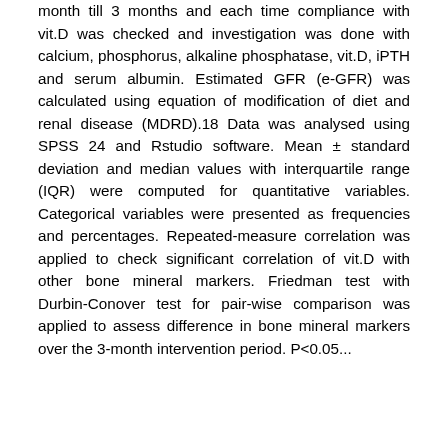month till 3 months and each time compliance with vit.D was checked and investigation was done with calcium, phosphorus, alkaline phosphatase, vit.D, iPTH and serum albumin. Estimated GFR (e-GFR) was calculated using equation of modification of diet and renal disease (MDRD).18 Data was analysed using SPSS 24 and Rstudio software. Mean ± standard deviation and median values with interquartile range (IQR) were computed for quantitative variables. Categorical variables were presented as frequencies and percentages. Repeated-measure correlation was applied to check significant correlation of vit.D with other bone mineral markers. Friedman test with Durbin-Conover test for pair-wise comparison was applied to assess difference in bone mineral markers over the 3-month intervention period. P<0.05...